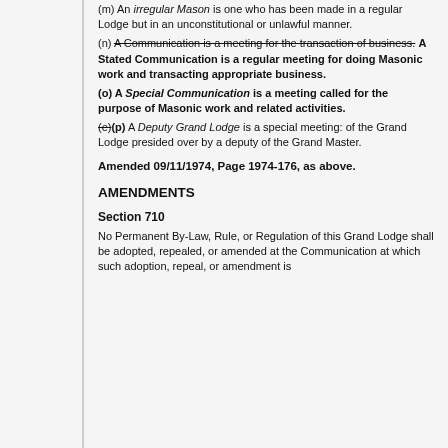(m) An irregular Mason is one who has been made in a regular Lodge but in an unconstitutional or unlawful manner.
(n) A Communication is a meeting for the transaction of business. A Stated Communication is a regular meeting for doing Masonic work and transacting appropriate business.
(o) A Special Communication is a meeting called for the purpose of Masonic work and related activities.
(e)(p) A Deputy Grand Lodge is a special meeting: of the Grand Lodge presided over by a deputy of the Grand Master.
Amended 09/11/1974, Page 1974-176, as above.
AMENDMENTS
Section 710
No Permanent By-Law, Rule, or Regulation of this Grand Lodge shall be adopted, repealed, or amended at the Communication at which such adoption, repeal, or amendment is